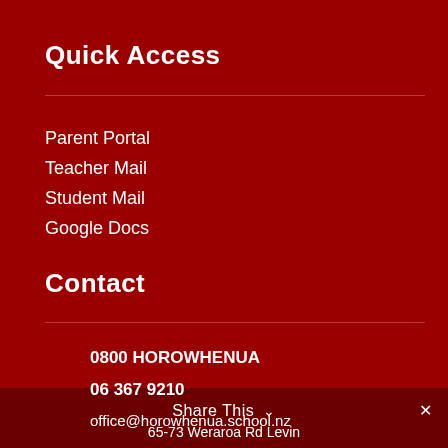Quick Access
Parent Portal
Teacher Mail
Student Mail
Google Docs
Contact
0800 HOROWHENUA
06 367 9210
office@horowhenua.school.nz
Share This ∨   ✕
65-73 Weraroa Rd Levin